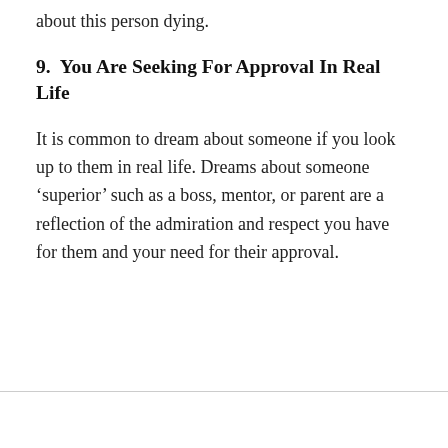about this person dying.
9.  You Are Seeking For Approval In Real Life
It is common to dream about someone if you look up to them in real life. Dreams about someone ‘superior’ such as a boss, mentor, or parent are a reflection of the admiration and respect you have for them and your need for their approval.